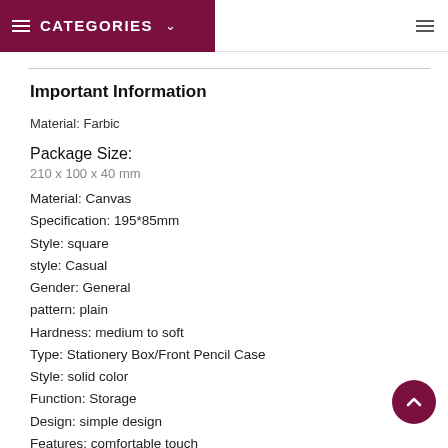≡ CATEGORIES ∨
Important Information
Material: Farbic
Package Size:
210 x 100 x 40 mm
Material: Canvas
Specification: 195*85mm
Style: square
style: Casual
Gender: General
pattern: plain
Hardness: medium to soft
Type: Stationery Box/Front Pencil Case
Style: solid color
Function: Storage
Design: simple design
Features: comfortable touch
Type: Storage bag
Features: compact/easy to carry